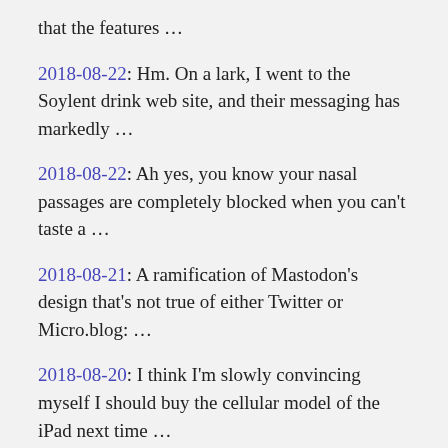that the features …
2018-08-22: Hm. On a lark, I went to the Soylent drink web site, and their messaging has markedly …
2018-08-22: Ah yes, you know your nasal passages are completely blocked when you can't taste a …
2018-08-21: A ramification of Mastodon's design that's not true of either Twitter or Micro.blog: …
2018-08-20: I think I'm slowly convincing myself I should buy the cellular model of the iPad next time …
2018-08-20: One not-so-obvious advantage I'm noticing that Micro.blog has over Mastodon: